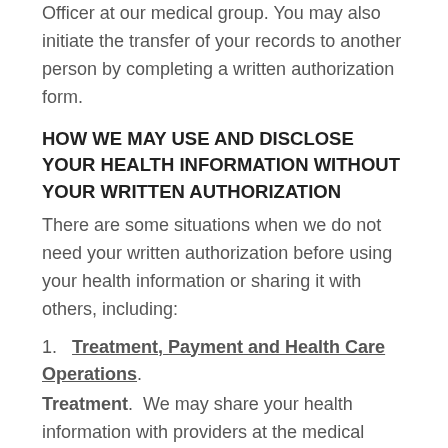Officer at our medical group. You may also initiate the transfer of your records to another person by completing a written authorization form.
HOW WE MAY USE AND DISCLOSE YOUR HEALTH INFORMATION WITHOUT YOUR WRITTEN AUTHORIZATION
There are some situations when we do not need your written authorization before using your health information or sharing it with others, including:
1.   Treatment, Payment and Health Care Operations.
Treatment.  We may share your health information with providers at the medical group who are involved in taking care of you.